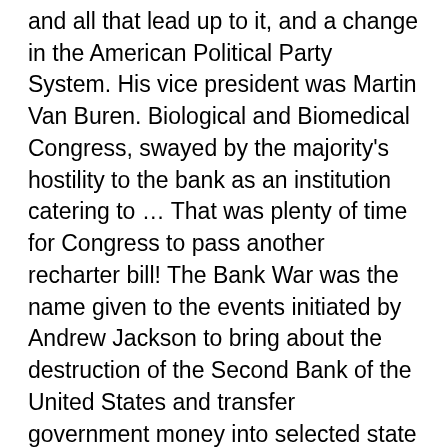and all that lead up to it, and a change in the American Political Party System. His vice president was Martin Van Buren. Biological and Biomedical Congress, swayed by the majority's hostility to the bank as an institution catering to … That was plenty of time for Congress to pass another recharter bill! The Bank War was the name given to the events initiated by Andrew Jackson to bring about the destruction of the Second Bank of the United States and transfer government money into selected state banks. 1816, 20yr. The Bank War of 1832—Two Views, continued Primary Source When laws favor those with wealth and power people without those advantages have a right to complain. We cannot guarantee that every books is in the library! Jackson's stubborn skepticism about banks escalated into a highly personal battle between the president of the country and the president of the bank, Nicholas Biddle. He adroitly navigated through the Nullification Crisis and made headlines with what his supporters viewed as his righteous war against the bastion of money, power, and entrenched insider interests. the Second Bank of the United